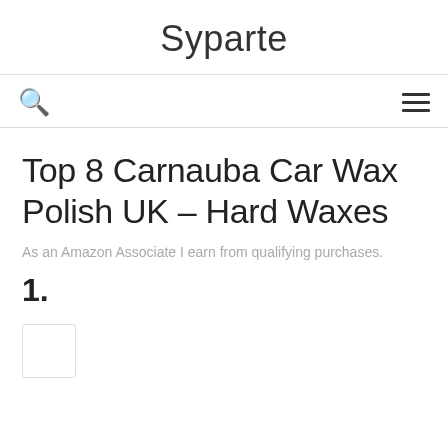Syparte
[Figure (other): Search icon (magnifying glass) and hamburger menu icon in navigation bar]
Top 8 Carnauba Car Wax Polish UK – Hard Waxes
As an Amazon Associate I earn from qualifying purchases.
1.
As an Amazon Associate I earn from qualifying purchases. This website uses the only necessary cookies to ensure you get the best experience on our website. More information